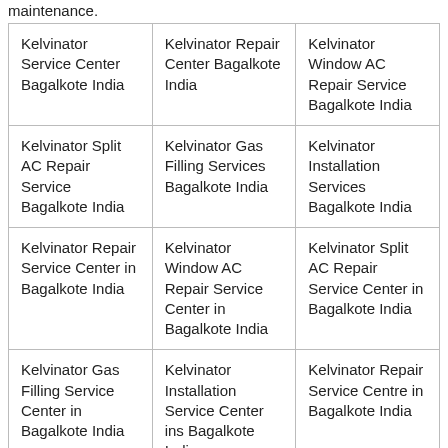maintenance.
| Kelvinator Service Center Bagalkote India | Kelvinator Repair Center Bagalkote India | Kelvinator Window AC Repair Service Bagalkote India |
| Kelvinator Split AC Repair Service Bagalkote India | Kelvinator Gas Filling Services Bagalkote India | Kelvinator Installation Services Bagalkote India |
| Kelvinator Repair Service Center in Bagalkote India | Kelvinator Window AC Repair Service Center in Bagalkote India | Kelvinator Split AC Repair Service Center in Bagalkote India |
| Kelvinator Gas Filling Service Center in Bagalkote India | Kelvinator Installation Service Center ins Bagalkote India | Kelvinator Repair Service Centre in Bagalkote India |
| Kelvinator | Kelvinator Split AC | Kelvinator Gas |